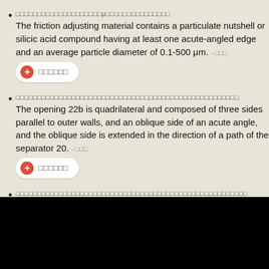The friction adjusting material contains a particulate nutshell or silicic acid compound having at least one acute-angled edge and an average particle diameter of 0.1-500 μm.
The opening 22b is quadrilateral and composed of three sides parallel to outer walls, and an oblique side of an acute angle, and the oblique side is extended in the direction of a path of the separator 20.
Thus, parts with acute angles having conventionally been formed to edges for forming the wire 101 can be avoided, the wire width